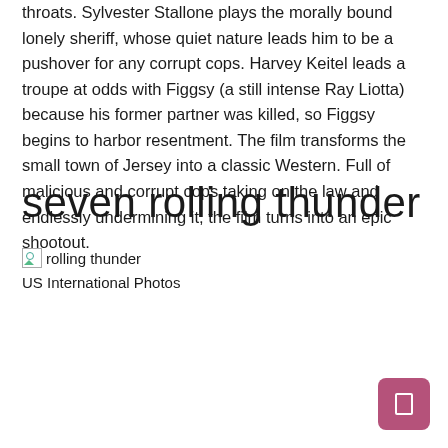throats. Sylvester Stallone plays the morally bound lonely sheriff, whose quiet nature leads him to be a pushover for any corrupt cops. Harvey Keitel leads a troupe at odds with Figgsy (a still intense Ray Liotta) because his former partner was killed, so Figgsy begins to harbor resentment. The film transforms the small town of Jersey into a classic Western. Full of malicious and corrupt cops taking on the law and endlessly undermining it, the film turns into an epic shootout.
seven rolling thunder
[Figure (photo): Broken image placeholder labeled 'rolling thunder']
US International Photos